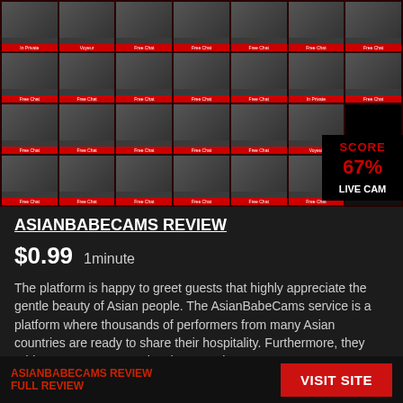[Figure (screenshot): Grid of Asian cam model thumbnails with red status labels (Free Chat, In Private, Voyeur). Score overlay showing 67% and LIVE CAM label in bottom right of grid area.]
ASIANBABECAMS REVIEW
$0.99   1minute
The platform is happy to greet guests that highly appreciate the gentle beauty of Asian people. The AsianBabeCams service is a platform where thousands of performers from many Asian countries are ready to share their hospitality. Furthermore, they add some more categories that contain
Read more
ASIANBABECAMS REVIEW FULL REVIEW   VISIT SITE